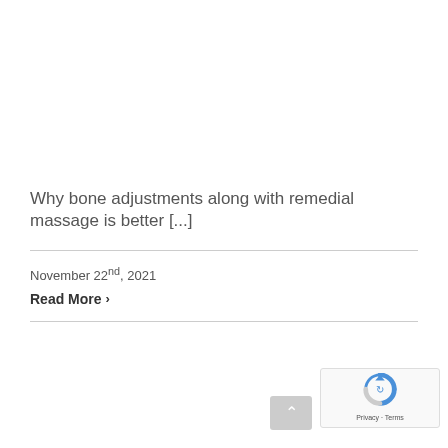Why bone adjustments along with remedial massage is better [...]
November 22nd, 2021
Read More ›
[Figure (logo): reCAPTCHA widget with Google logo, showing Privacy and Terms links]